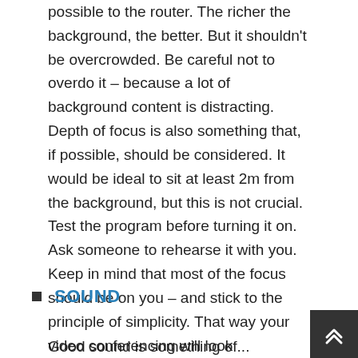possible to the router. The richer the background, the better. But it shouldn't be overcrowded. Be careful not to overdo it – because a lot of background content is distracting. Depth of focus is also something that, if possible, should be considered. It would be ideal to sit at least 2m from the background, but this is not crucial. Test the program before turning it on. Ask someone to rehearse it with you. Keep in mind that most of the focus should be on you – and stick to the principle of simplicity. That way your video conferencing will look professional, even if you do it from home.
SOUND
Good sound is something of...